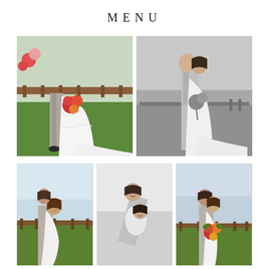MENU
[Figure (photo): Color wedding photo: bride and groom standing together outdoors on green grass. Bride in white lace gown with long train, holding red and orange bouquet. Groom in light gray suit.]
[Figure (photo): Black and white wedding photo: bride and groom facing each other outdoors in an open field. Bride in white gown with long train, groom in light suit.]
[Figure (photo): Color wedding photo: bride leaning back against groom, both smiling. Groom in gray suit, bride in white dress. Outdoor hilltop setting with scenic valley view and wooden fence.]
[Figure (photo): Black and white wedding photo: groom bending forward playfully with bride hanging on his back, both laughing. Outdoor bright background.]
[Figure (photo): Color wedding photo: bride and groom standing close together outdoors, bride holding colorful bouquet. Hilltop setting with valley view and wooden fence in background.]